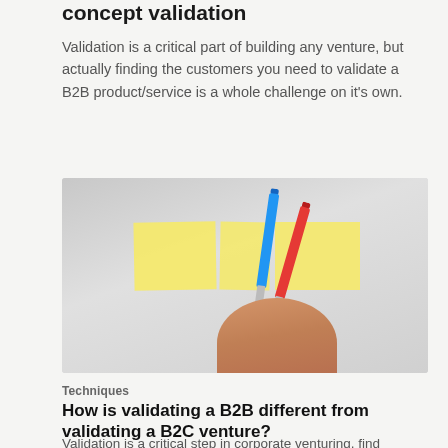concept validation
Validation is a critical part of building any venture, but actually finding the customers you need to validate a B2B product/service is a whole challenge on it's own.
[Figure (photo): A hand holding a blue and a red marker/pen with yellow sticky post-it notes in the background on a light grey surface.]
Techniques
How is validating a B2B different from validating a B2C venture?
Validation is a critical step in corporate venturing, find